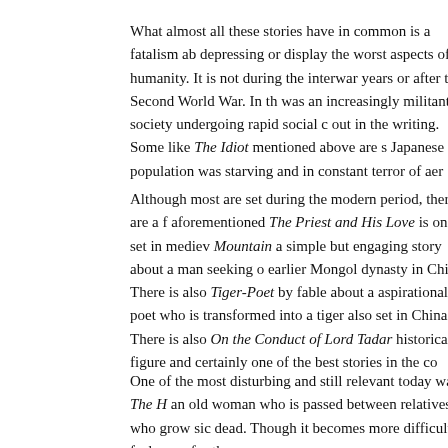What almost all these stories have in common is a fatalism ab depressing or display the worst aspects of humanity. It is not during the interwar years or after the Second World War. In th was an increasingly militant society undergoing rapid social c out in the writing. Some like The Idiot mentioned above are s Japanese population was starving and in constant terror of aer
Although most are set during the modern period, there are a f aforementioned The Priest and His Love is one set in mediev Mountain a simple but engaging story about a man seeking o earlier Mongol dynasty in China. There is also Tiger-Poet by fable about a aspirational poet who is transformed into a tiger also set in China. There is also On the Conduct of Lord Tadar historical figure and certainly one of the best stories in the co
One of the most disturbing and still relevant today was The H an old woman who is passed between relatives who grow sic dead. Though it becomes more difficult to feel sorry for the w